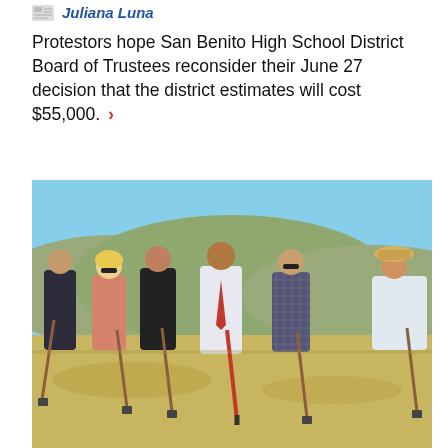Juliana Luna
Protestors hope San Benito High School District Board of Trustees reconsider their June 27 decision that the district estimates will cost $55,000. ›
[Figure (photo): Group of six people holding shovels at a groundbreaking ceremony outdoors, with dry hills and blue sky in the background.]